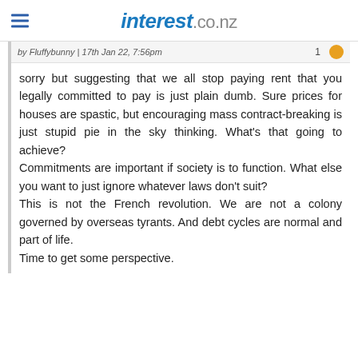interest.co.nz
by Fluffybunny | 17th Jan 22, 7:56pm   1
sorry but suggesting that we all stop paying rent that you legally committed to pay is just plain dumb.  Sure prices for houses are spastic, but encouraging mass contract-breaking is just stupid pie in the sky thinking.  What’s that going to achieve?
Commitments are important if society is to function.  What else you want to just ignore whatever laws don’t suit?
This is not the French revolution.  We are not a colony governed by overseas tyrants.  And debt cycles are normal and part of life.
Time to get some perspective.